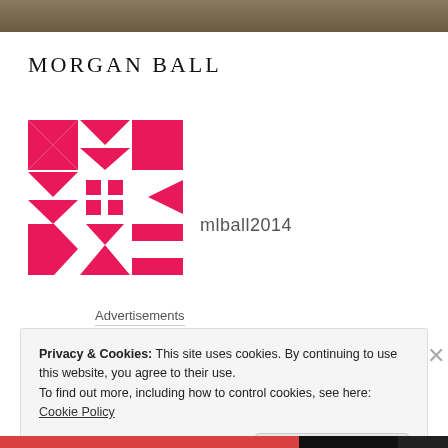[Figure (photo): Cropped top strip of a photo showing earthy/stone tones]
MORGAN BALL
[Figure (logo): Pink/crimson geometric quilt-pattern logo made of triangles, squares and arrow shapes arranged in a 3x3 grid]
mlball2014
Advertisements
Privacy & Cookies: This site uses cookies. By continuing to use this website, you agree to their use.
To find out more, including how to control cookies, see here: Cookie Policy
Close and accept